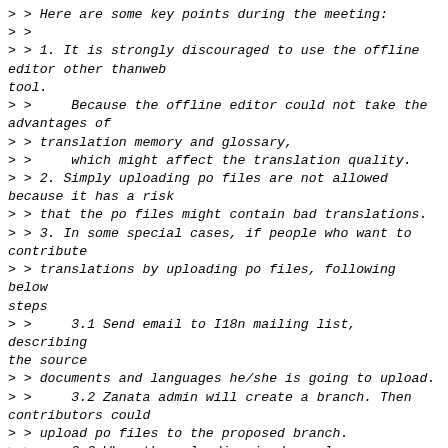> > Here are some key points during the meeting:
> >
> > 1. It is strongly discouraged to use the offline editor other thanweb
tool.
> >     Because the offline editor could not take the advantages of
> > translation memory and glossary,
> >     which might affect the translation quality.
> > 2. Simply uploading po files are not allowed because it has a risk
> > that the po files might contain bad translations.
> > 3. In some special cases, if people who want to contribute
> > translations by uploading po files, following below steps
> >     3.1 Send email to I18n mailing list, describing the source
> > documents and languages he/she is going to upload.
> >     3.2 Zanata admin will create a branch. Then contributors could
> > upload po files to the proposed branch.
> >     3.3 When the uploading is done, language coordinators could
> > review the translations.
> >         The coordinators could have two kinds of review results:
> > agree to merge or deny to merge.
> >         If the coordinators deny to merge, coordinators should